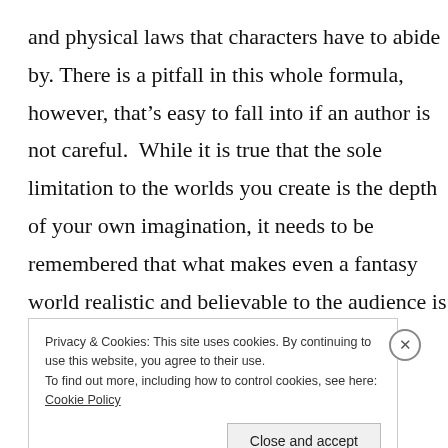and physical laws that characters have to abide by. There is a pitfall in this whole formula, however, that's easy to fall into if an author is not careful.  While it is true that the sole limitation to the worlds you create is the depth of your own imagination, it needs to be remembered that what makes even a fantasy world realistic and believable to the audience is that–once its rules and laws are laid out–it remains consistent to its own reality.

If characters in a story generally cannot fly, having a
Privacy & Cookies: This site uses cookies. By continuing to use this website, you agree to their use.
To find out more, including how to control cookies, see here: Cookie Policy
Close and accept